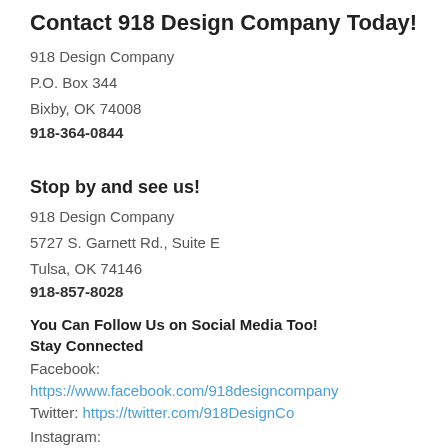Contact 918 Design Company Today!
918 Design Company
P.O. Box 344
Bixby, OK 74008
918-364-0844
Stop by and see us!
918 Design Company
5727 S. Garnett Rd., Suite E
Tulsa, OK 74146
918-857-8028
You Can Follow Us on Social Media Too!
Stay Connected
Facebook:
https://www.facebook.com/918designcompany
Twitter: https://twitter.com/918DesignCo
Instagram:
https://www.instagram.com/918designcompany/